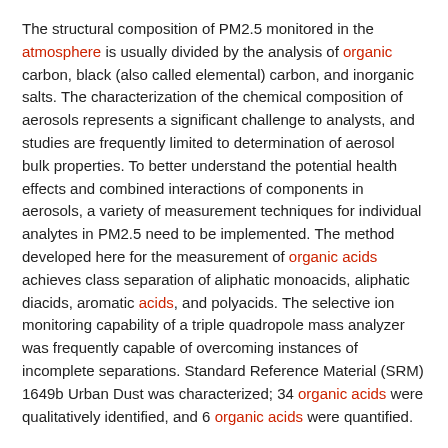The structural composition of PM2.5 monitored in the atmosphere is usually divided by the analysis of organic carbon, black (also called elemental) carbon, and inorganic salts. The characterization of the chemical composition of aerosols represents a significant challenge to analysts, and studies are frequently limited to determination of aerosol bulk properties. To better understand the potential health effects and combined interactions of components in aerosols, a variety of measurement techniques for individual analytes in PM2.5 need to be implemented. The method developed here for the measurement of organic acids achieves class separation of aliphatic monoacids, aliphatic diacids, aromatic acids, and polyacids. The selective ion monitoring capability of a triple quadropole mass analyzer was frequently capable of overcoming instances of incomplete separations. Standard Reference Material (SRM) 1649b Urban Dust was characterized; 34 organic acids were qualitatively identified, and 6 organic acids were quantified.
8. Atmospheric Prebiotic Chemistry and Organic Hazes
Science.gov (United States)